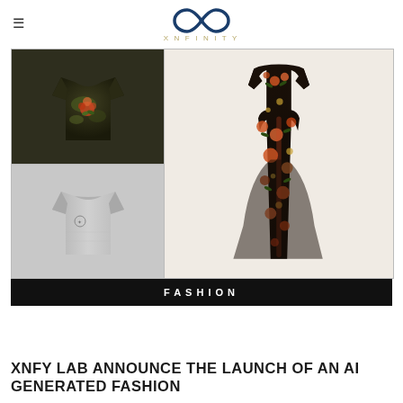≡  XNFINITY
[Figure (photo): Fashion editorial collage: top-left shows a dark camouflage graphic t-shirt with floral print; bottom-left shows a gray plain t-shirt; right side shows a long floral black and orange dress. A black banner at the bottom reads 'FASHION' in spaced white letters.]
XNFY LAB ANNOUNCE THE LAUNCH OF AN AI GENERATED FASHION